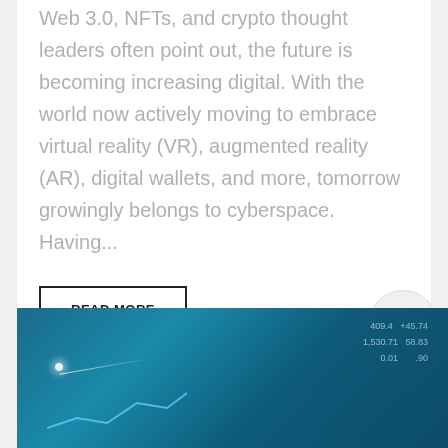Web 3.0, NFTs, and crypto thought leaders often point out, the future is becoming increasing digital. With the world now actively moving to embrace virtual reality (VR), augmented reality (AR), digital wallets, and more, tomorrow growingly belongs to cyberspace. Having...
READ MORE
[Figure (photo): A person in a business suit interacting with a digital financial display showing stock market numbers and charts on a blue-tinted futuristic interface]